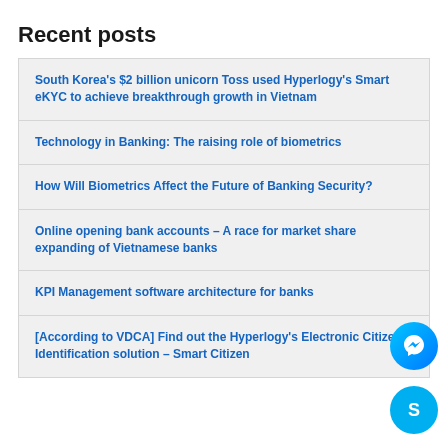Recent posts
South Korea's $2 billion unicorn Toss used Hyperlogy's Smart eKYC to achieve breakthrough growth in Vietnam
Technology in Banking: The raising role of biometrics
How Will Biometrics Affect the Future of Banking Security?
Online opening bank accounts – A race for market share expanding of Vietnamese banks
KPI Management software architecture for banks
[According to VDCA] Find out the Hyperlogy's Electronic Citizen Identification solution – Smart Citizen